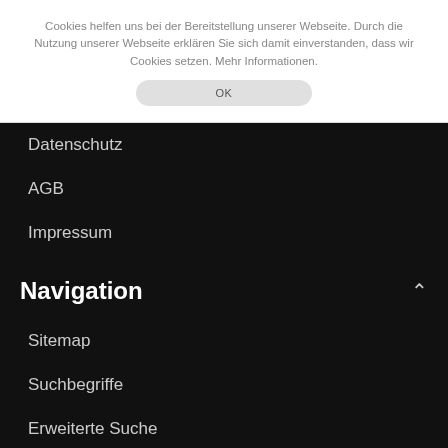Cookies helfen uns bei der Bereitstellung unserer Webseite. Durch die Nutzung unserer Webseite erklären Sie sich damit einverstanden, dass wir Cookies setzen. Mehr Informationen.
OK
Datenschutz
AGB
Impressum
Navigation
Sitemap
Suchbegriffe
Erweiterte Suche
© 2003-2022 ProMusicTools. Angebote gültig solange der Vorrat reicht. Druckfehler/Irrtümer vorbehalten. *UVP = unverbindliche Preisempfehlung des Herstellers; bei Auslauf-/Gebrauchtartikeln: ehem. unverbindliche Preisempfehlung des Herstellers.